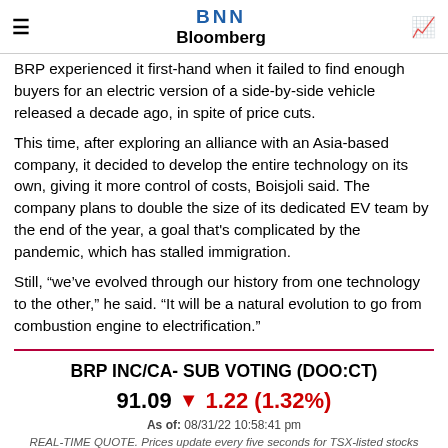BNN Bloomberg
BRP experienced it first-hand when it failed to find enough buyers for an electric version of a side-by-side vehicle released a decade ago, in spite of price cuts.
This time, after exploring an alliance with an Asia-based company, it decided to develop the entire technology on its own, giving it more control of costs, Boisjoli said. The company plans to double the size of its dedicated EV team by the end of the year, a goal that's complicated by the pandemic, which has stalled immigration.
Still, “we’ve evolved through our history from one technology to the other,” he said. “It will be a natural evolution to go from combustion engine to electrification.”
BRP INC/CA- SUB VOTING (DOO:CT)
91.09 ▼ 1.22 (1.32%)
As of: 08/31/22 10:58:41 pm
REAL-TIME QUOTE. Prices update every five seconds for TSX-listed stocks